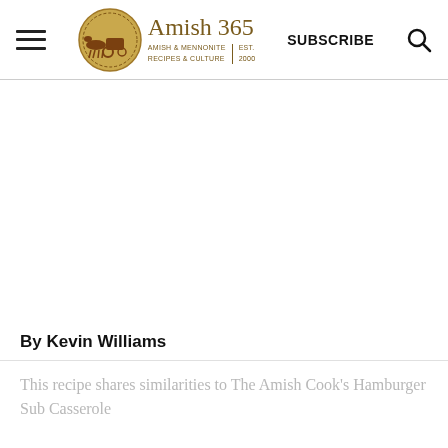Amish 365 | AMISH & MENNONITE RECIPES & CULTURE | EST. 2000 | SUBSCRIBE
[Figure (logo): Amish 365 logo with circular gold emblem showing horse and buggy silhouette, with text 'Amish 365' and subtitle 'Amish & Mennonite Recipes & Culture | Est. 2000']
By Kevin Williams
This recipe shares similarities to The Amish Cook's Hamburger Sub Casserole